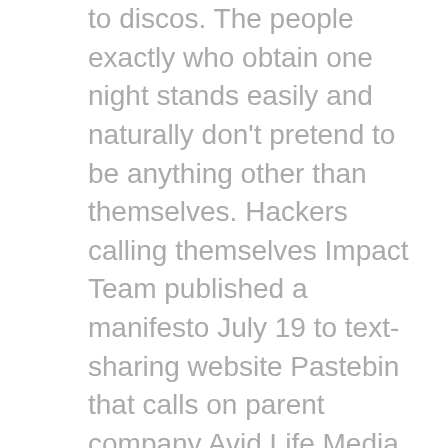to discos. The people exactly who obtain one night stands easily and naturally don't pretend to be anything other than themselves. Hackers calling themselves Impact Team published a manifesto July 19 to text-sharing website Pastebin that calls on parent company Avid Life Media to close two of its online dating sites or they will "dump" all of the data they've stolen. Considering most women love the extra attention it's going for, it is possible to fundamentally eliminate a complete evening wanting to video game